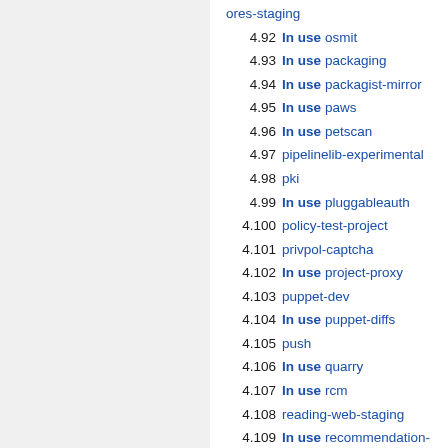ores-staging
4.92 In use osmit
4.93 In use packaging
4.94 In use packagist-mirror
4.95 In use paws
4.96 In use petscan
4.97 pipelinelib-experimental
4.98 pki
4.99 In use pluggableauth
4.100 policy-test-project
4.101 privpol-captcha
4.102 In use project-proxy
4.103 puppet-dev
4.104 In use puppet-diffs
4.105 push
4.106 In use quarry
4.107 In use rcm
4.108 reading-web-staging
4.109 In use recommendation-api